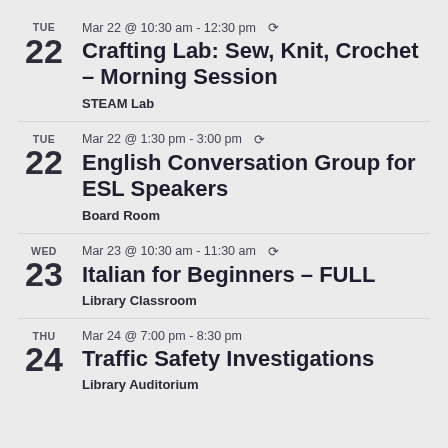TUE 22 — Mar 22 @ 10:30 am - 12:30 pm — Crafting Lab: Sew, Knit, Crochet – Morning Session — STEAM Lab
TUE 22 — Mar 22 @ 1:30 pm - 3:00 pm — English Conversation Group for ESL Speakers — Board Room
WED 23 — Mar 23 @ 10:30 am - 11:30 am — Italian for Beginners – FULL — Library Classroom
THU 24 — Mar 24 @ 7:00 pm - 8:30 pm — Traffic Safety Investigations — Library Auditorium